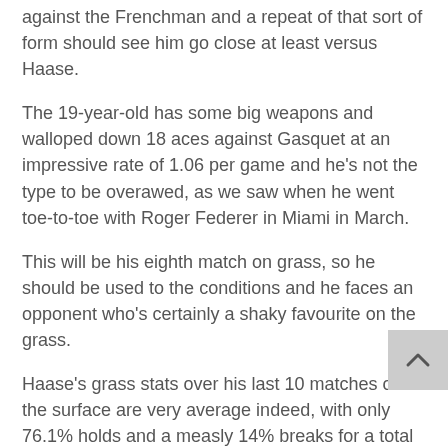…Little some 1st from which he lost by 3 let and 5 in ten against the Frenchman and a repeat of that sort of form should see him go close at least versus Haase.
The 19-year-old has some big weapons and walloped down 18 aces against Gasquet at an impressive rate of 1.06 per game and he's not the type to be overawed, as we saw when he went toe-to-toe with Roger Federer in Miami in March.
This will be his eighth match on grass, so he should be used to the conditions and he faces an opponent who's certainly a shaky favourite on the grass.
Haase's grass stats over his last 10 matches on the surface are very average indeed, with only 76.1% holds and a measly 14% breaks for a total of 90.1 and that's worse than Thomaz Bellucci.
The Dutchman's record at Wimbledon isn't good either,